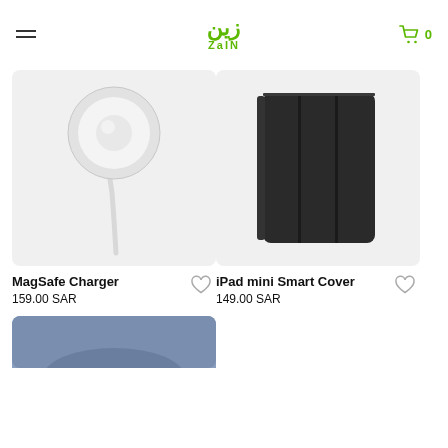Zain — shopping page header with logo and cart
[Figure (photo): MagSafe Charger product photo — round white wireless charger with cable on light grey background]
MagSafe Charger
159.00 SAR
[Figure (photo): iPad mini Smart Cover product photo — dark grey/black folding cover on light grey background]
iPad mini Smart Cover
149.00 SAR
[Figure (photo): Partial view of another product card at the bottom of the page — blue/dark colored item, partially cropped]